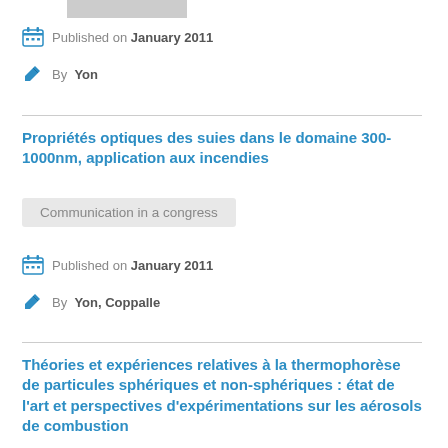[Figure (other): Gray rectangular bar at top]
Published on January 2011
By Yon
Propriétés optiques des suies dans le domaine 300-1000nm, application aux incendies
Communication in a congress
Published on January 2011
By Yon, Coppalle
Théories et expériences relatives à la thermophorèse de particules sphériques et non-sphériques : état de l'art et perspectives d'expérimentations sur les aérosols de combustion